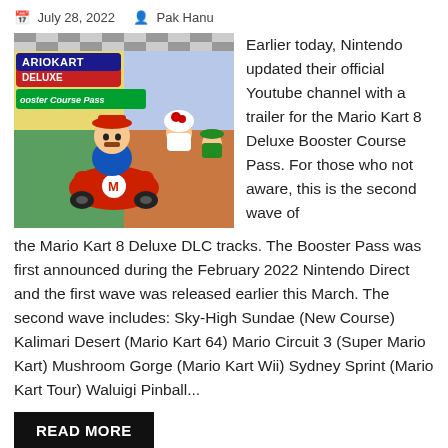July 28, 2022   Pak Hanu
[Figure (photo): Mario Kart 8 Deluxe Booster Course Pass promotional image showing Mario in a kart with Toad and Luigi, with the game logo visible]
Earlier today, Nintendo updated their official Youtube channel with a trailer for the Mario Kart 8 Deluxe Booster Course Pass. For those who not aware, this is the second wave of the Mario Kart 8 Deluxe DLC tracks. The Booster Pass was first announced during the February 2022 Nintendo Direct and the first wave was released earlier this March. The second wave includes: Sky-High Sundae (New Course) Kalimari Desert (Mario Kart 64) Mario Circuit 3 (Super Mario Kart) Mushroom Gorge (Mario Kart Wii) Sydney Sprint (Mario Kart Tour) Waluigi Pinball...
READ MORE